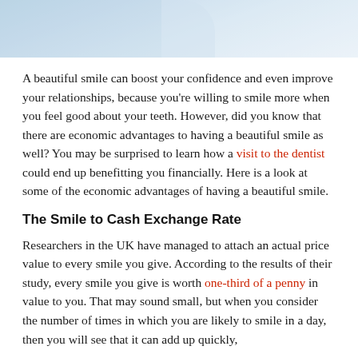[Figure (photo): Photo of two people (likely a dentist and patient) shaking hands or interacting, cropped to show just the lower portion, with blue and white tones.]
A beautiful smile can boost your confidence and even improve your relationships, because you're willing to smile more when you feel good about your teeth. However, did you know that there are economic advantages to having a beautiful smile as well? You may be surprised to learn how a visit to the dentist could end up benefitting you financially. Here is a look at some of the economic advantages of having a beautiful smile.
The Smile to Cash Exchange Rate
Researchers in the UK have managed to attach an actual price value to every smile you give. According to the results of their study, every smile you give is worth one-third of a penny in value to you. That may sound small, but when you consider the number of times in which you are likely to smile in a day, then you will see that it can add up quickly,